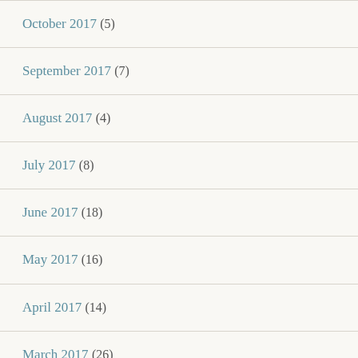October 2017 (5)
September 2017 (7)
August 2017 (4)
July 2017 (8)
June 2017 (18)
May 2017 (16)
April 2017 (14)
March 2017 (26)
February 2017 (...)